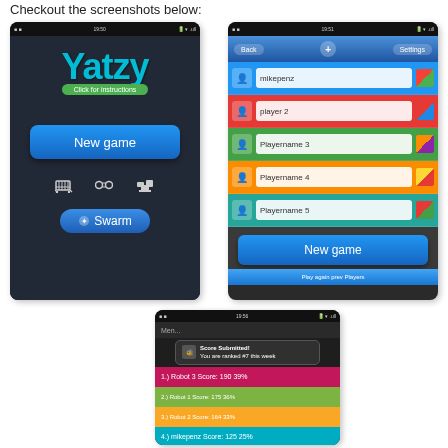Checkout the screenshots below:
[Figure (screenshot): Yatzy app main screen showing the Yatzy logo in cyan, 'Click for instructions' subtitle, 'New game' button, cart/link/trophy icons, and Swarm button]
[Figure (screenshot): Yatzy app player setup screen showing Back/+/Settings navigation, five player name input rows (mikepenz, player 2, Playername 3, Playername 4, Playername 5) each with color icon, 'New game' button, and 'Play again prev Players' link]
[Figure (screenshot): Yatzy app scores screen with Swarm toast notification 'Score Submitted! You are ranked #7 this week', and score rows: 1.) Robot 3 Score: 190 39%, 2.) Robot 1 Score: 175 36%, 3.) Robot 2 Score: 164 33%, 4.) mikepenz Score: 125 25%]